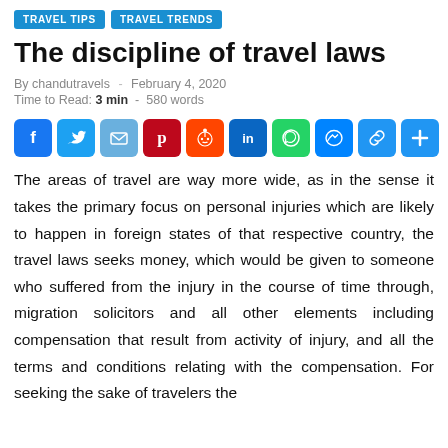TRAVEL TIPS   TRAVEL TRENDS
The discipline of travel laws
By chandutravels  -  February 4, 2020
Time to Read: 3 min  -  580 words
[Figure (infographic): Social media share buttons: Facebook, Twitter, Email, Pinterest, Reddit, LinkedIn, WhatsApp, Messenger, Copy Link, Add]
The areas of travel are way more wide, as in the sense it takes the primary focus on personal injuries which are likely to happen in foreign states of that respective country, the travel laws seeks money, which would be given to someone who suffered from the injury in the course of time through, migration solicitors and all other elements including compensation that result from activity of injury, and all the terms and conditions relating with the compensation. For seeking the sake of travelers the